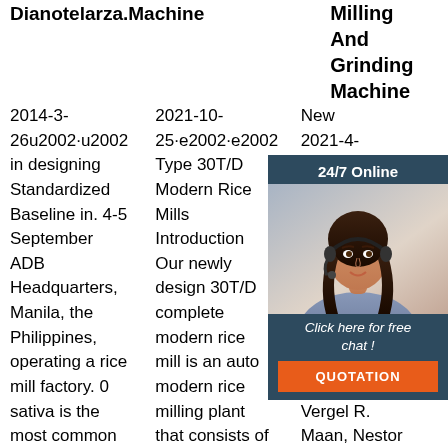Dianotelarza.Machine (col 1 partial) | 2021-10-25·e2002·Experience·2002 New Type 30T/D Modern Rice Mills Introduction Our newly design 30T/D complete modern rice mill is an auto modern rice milling plant that consists of a whole set of rice milling | Milling And Grinding Machine 2021-4-22 ... Zyrom S. Dela Rosa, Kyle Vergel R. Maan, Nestor C. Camello.
[Figure (other): Chat support widget with a photo of a woman wearing a headset, dark blue/teal background, '24/7 Online' header, 'Click here for free chat!' text, and orange 'QUOTATION' button]